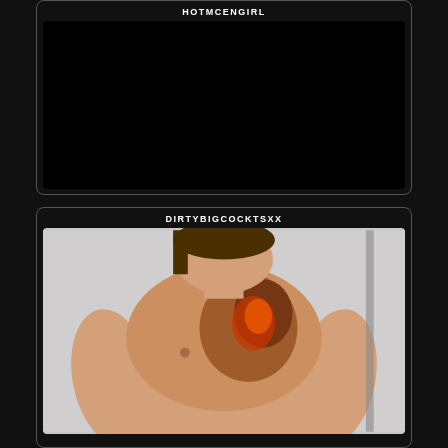HOTMCENGIRL
[Figure (photo): Black rectangle, dark/blank image area]
DIRTYBIGCOCKTSXX
[Figure (photo): Person with tattoos on chest, light background]